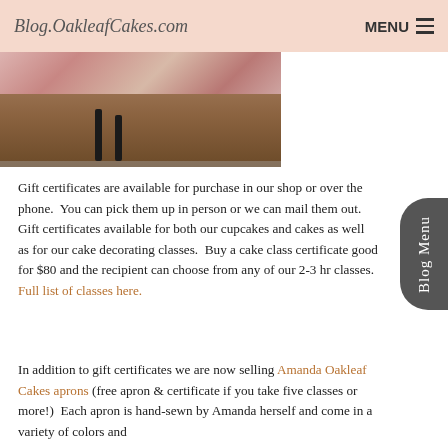Blog.OakleafCakes.com  MENU
[Figure (photo): Partial photo of a table with floral fabric/decorations visible at top, and dark wrought iron candle holders on a wooden surface]
Gift certificates are available for purchase in our shop or over the phone.  You can pick them up in person or we can mail them out.  Gift certificates available for both our cupcakes and cakes as well as for our cake decorating classes.  Buy a cake class certificate good for $80 and the recipient can choose from any of our 2-3 hr classes.  Full list of classes here.
In addition to gift certificates we are now selling Amanda Oakleaf Cakes aprons (free apron & certificate if you take five classes or more!)  Each apron is hand-sewn by Amanda herself and come in a variety of colors and patterns.  Aprons are now available for purchase in